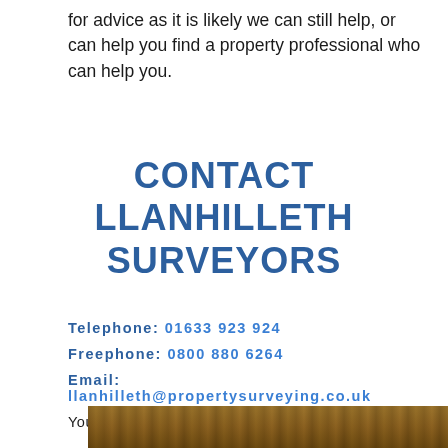for advice as it is likely we can still help, or can help you find a property professional who can help you.
CONTACT LLANHILLETH SURVEYORS
Telephone: 01633 923 924
Freephone: 0800 880 6264
Email: llanhilleth@propertysurveying.co.uk
Your Local Director is Keith Batten FRICS
[Figure (photo): Partial view of a property photograph at the bottom of the page]